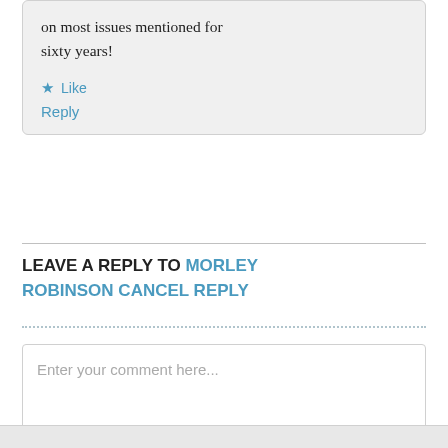on most issues mentioned for sixty years!
★ Like
Reply
LEAVE A REPLY TO MORLEY ROBINSON CANCEL REPLY
Enter your comment here...